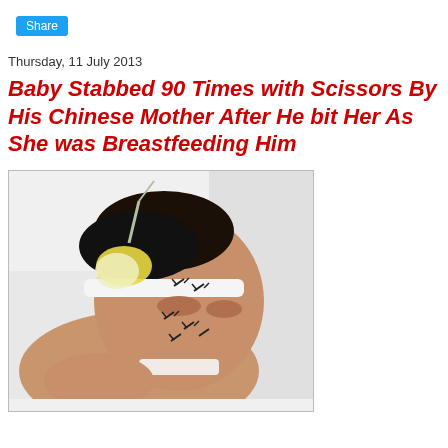Share
Thursday, 11 July 2013
Baby Stabbed 90 Times with Scissors By His Chinese Mother After He bit Her As She was Breastfeeding Him
[Figure (photo): A newborn baby lying on white fabric, face showing multiple stitched wounds, with a medical IV line attached near the head wrapped in bandaging with a yellow bow.]